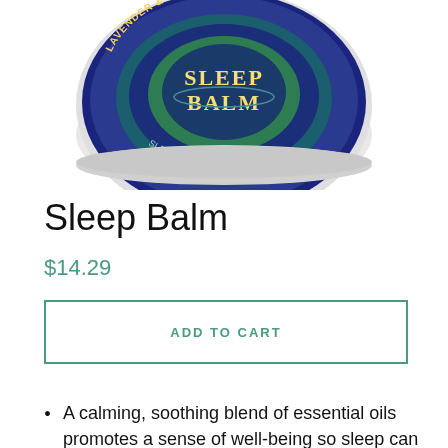[Figure (photo): A round tin of Sleep Balm product showing label with lavender and bergamot text, viewed from above at an angle. Blue and green circular label design.]
Sleep Balm
$14.29
ADD TO CART
A calming, soothing blend of essential oils promotes a sense of well-being so sleep can